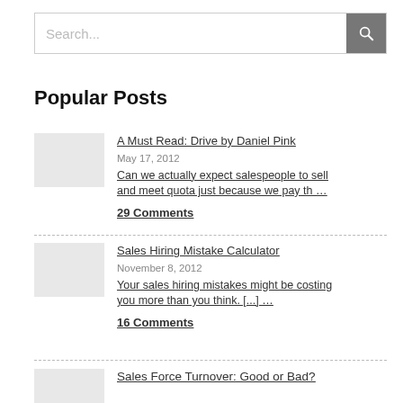[Figure (screenshot): Search bar with text input showing 'Search...' placeholder and a dark grey search button with magnifying glass icon]
Popular Posts
A Must Read: Drive by Daniel Pink | May 17, 2012 | Can we actually expect salespeople to sell and meet quota just because we pay th … | 29 Comments
Sales Hiring Mistake Calculator | November 8, 2012 | Your sales hiring mistakes might be costing you more than you think. [...] ... | 16 Comments
Sales Force Turnover: Good or Bad?